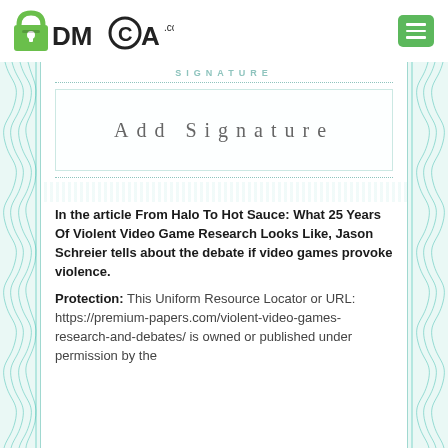DMCA.com [logo] [menu button]
[Figure (other): DMCA certificate signature area with guilloche border pattern, showing 'SIGNATURE' label, dotted lines, and 'Add Signature' placeholder box]
In the article From Halo To Hot Sauce: What 25 Years Of Violent Video Game Research Looks Like, Jason Schreier tells about the debate if video games provoke violence.
Protection: This Uniform Resource Locator or URL: https://premium-papers.com/violent-video-games-research-and-debates/ is owned or published under permission by the